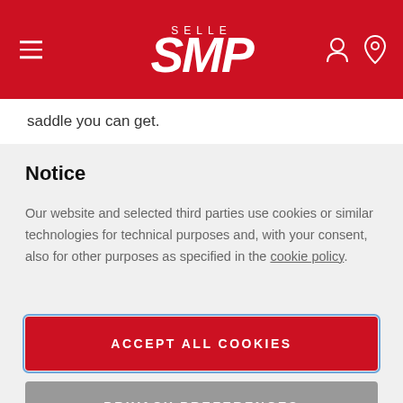[Figure (logo): Selle SMP logo in white on red header background with hamburger menu icon on left and user/location icons on right]
saddle you can get.
Notice
Our website and selected third parties use cookies or similar technologies for technical purposes and, with your consent, also for other purposes as specified in the cookie policy.
ACCEPT ALL COOKIES
PRIVACY PREFERENCES